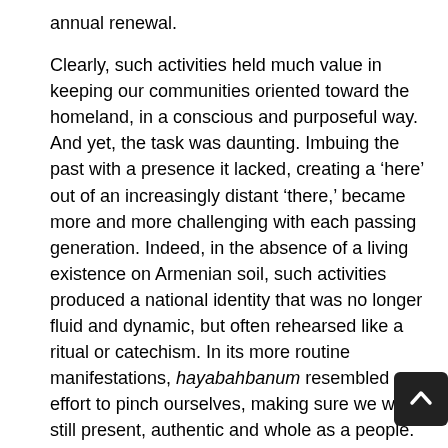annual renewal.
Clearly, such activities held much value in keeping our communities oriented toward the homeland, in a conscious and purposeful way. And yet, the task was daunting. Imbuing the past with a presence it lacked, creating a ‘here’ out of an increasingly distant ‘there,’ became more and more challenging with each passing generation. Indeed, in the absence of a living existence on Armenian soil, such activities produced a national identity that was no longer fluid and dynamic, but often rehearsed like a ritual or catechism. In its more routine manifestations, hayabahbanum resembled an effort to pinch ourselves, making sure we were still present, authentic and whole as a people.
Emerging Conflicts and Contradictions
In some communities, hayabahbanum presented no major dilemmas or conflicts. For example, our Middle Eastern ghettos often lasted for decades, maintaining insider/outsider distinctions that enabled Armenians to survive, even thrive, while living in a